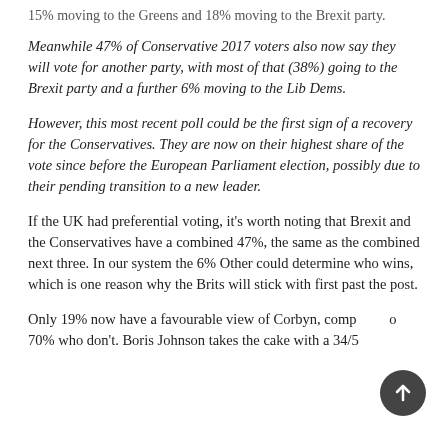15% moving to the Greens and 18% moving to the Brexit party.
Meanwhile 47% of Conservative 2017 voters also now say they will vote for another party, with most of that (38%) going to the Brexit party and a further 6% moving to the Lib Dems.
However, this most recent poll could be the first sign of a recovery for the Conservatives. They are now on their highest share of the vote since before the European Parliament election, possibly due to their pending transition to a new leader.
If the UK had preferential voting, it's worth noting that Brexit and the Conservatives have a combined 47%, the same as the combined next three. In our system the 6% Other could determine who wins, which is one reason why the Brits will stick with first past the post.
Only 19% now have a favourable view of Corbyn, compared to 70% who don't. Boris Johnson takes the cake with a 34/57 split...